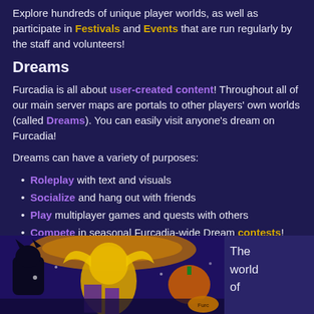Explore hundreds of unique player worlds, as well as participate in Festivals and Events that are run regularly by the staff and volunteers!
Dreams
Furcadia is all about user-created content! Throughout all of our main server maps are portals to other players' own worlds (called Dreams). You can easily visit anyone's dream on Furcadia!
Dreams can have a variety of purposes:
Roleplay with text and visuals
Socialize and hang out with friends
Play multiplayer games and quests with others
Compete in seasonal Furcadia-wide Dream contests!
[Figure (illustration): Pixel art game screenshot showing a fantasy scene with a golden creature/character, decorative elements in orange and purple, on a dark background. Partial view of a game world.]
The world of